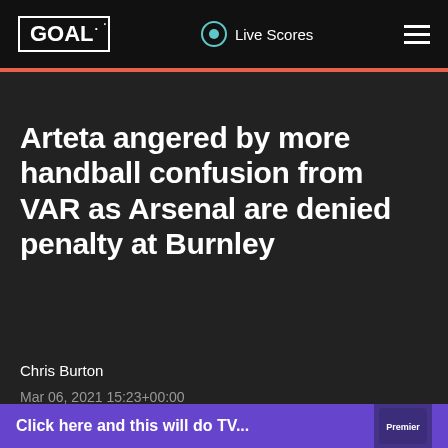GOAL  Live Scores
Arteta angered by more handball confusion from VAR as Arsenal are denied penalty at Burnley
Chris Burton
Mar 06, 2021 15:23+00:00
Social share icons: link, facebook, twitter, reddit. Comments: 3
Click here and this will do TV...